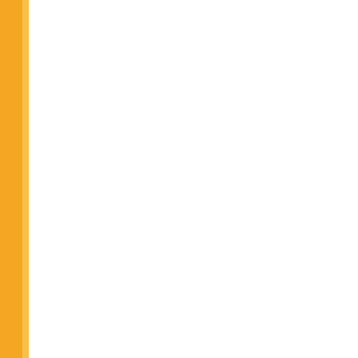| No. | Date | Link |
| --- | --- | --- |
| 739. | 24/05/2016 | CHANGE: C... 2016) |
| 740. | 24/05/2016 | CHANGES i... and Regular... |
| 741. | 20/05/2016 | ADDITION: ... (May-2016) |
| 742. | 19/05/2016 | RE-EXAMIN... examination |
| 743. | 18/05/2016 | CHANGES: ... Examination |
| 744. | 17/05/2016 | ADDITIONS: ... Examination |
| 745. | 16/05/2016 | ADDITIONS: ... (May-2016) |
| 746. | 16/05/2016 | ADDITION: ... SEMESTER |
| 747. | 14/05/2016 | ADDITIONS: ... (May-2016) |
| 748. | 14/05/2016 | CHANGES: ... SEMESTER |
| 749. | 14/05/2016 | ADDITION-C... Examinatio... |